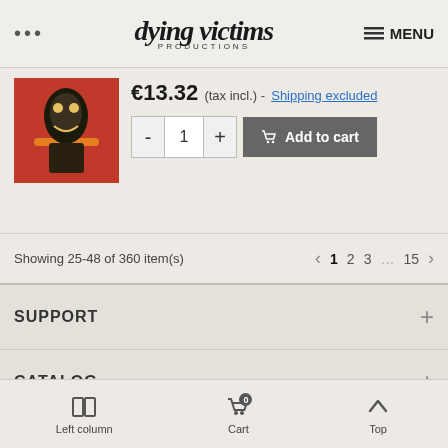... dying victims PRODUCTIONS MENU
[Figure (photo): Product image on orange/red background showing dark figure illustration]
€13.32 (tax incl.) - Shipping excluded
- 1 + Add to cart
Showing 25-48 of 360 item(s)
< 1 2 3 ... 15 >
SUPPORT +
CATALOG +
INFOS +
CONTACT +
Left column   Cart 0   Top